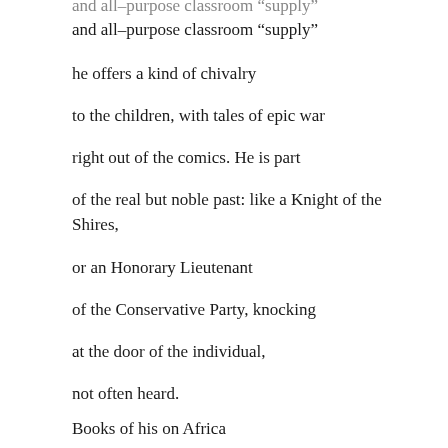and all–purpose classroom “supply”
he offers a kind of chivalry
to the children, with tales of epic war
right out of the comics. He is part
of the real but noble past: like a Knight of the Shires,
or an Honorary Lieutenant
of the Conservative Party, knocking
at the door of the individual,
not often heard.
Books of his on Africa
still allow'd the men to read of England